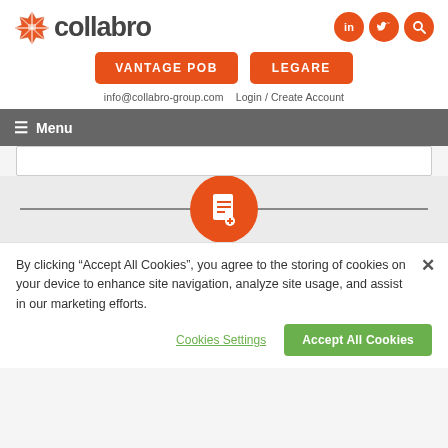[Figure (logo): Collabro logo with orange asterisk/star icon and 'collabro' text in dark gray]
[Figure (infographic): Three orange circular social media buttons: LinkedIn (in), Twitter (bird), and Search (magnifying glass)]
VANTAGE POB
LEGARE
info@collabro-group.com   Login / Create Account
≡ Menu
[Figure (illustration): Orange circle with white document/file icon]
By clicking "Accept All Cookies", you agree to the storing of cookies on your device to enhance site navigation, analyze site usage, and assist in our marketing efforts.
Cookies Settings
Accept All Cookies